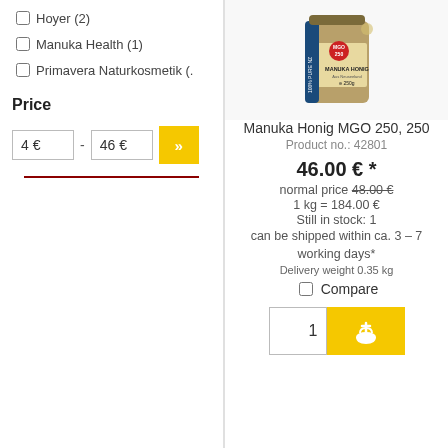Hoyer (2)
Manuka Health (1)
Primavera Naturkosmetik (.
Price
4 € - 46 €
[Figure (photo): Jar of Manuka Honig MGO 250, 250g]
Manuka Honig MGO 250, 250
Product no.: 42801
46.00 € *
normal price 48.00 €
1 kg = 184.00 €
Still in stock: 1
can be shipped within ca. 3 – 7 working days*
Delivery weight 0.35 kg
Compare
1